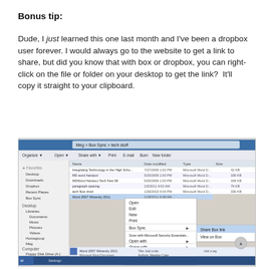Bonus tip:
Dude, I just learned this one last month and I've been a dropbox user forever. I would always go to the website to get a link to share, but did you know that with box or dropbox, you can right-click on the file or folder on your desktop to get the link?  It'll copy it straight to your clipboard.
[Figure (screenshot): Windows Explorer window showing Box Sync folder with a right-click context menu open on a file, revealing 'Box Sync' submenu with options 'Share Box link' and 'View on Box'.]